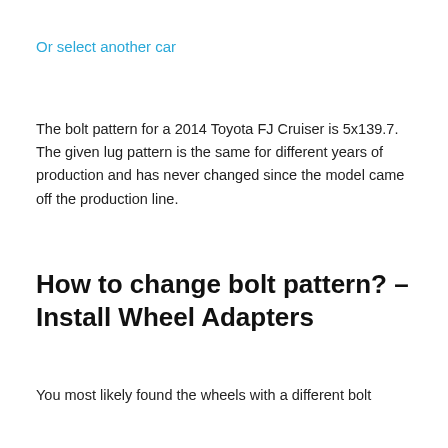Or select another car
The bolt pattern for a 2014 Toyota FJ Cruiser is 5x139.7. The given lug pattern is the same for different years of production and has never changed since the model came off the production line.
How to change bolt pattern? – Install Wheel Adapters
You most likely found the wheels with a different bolt